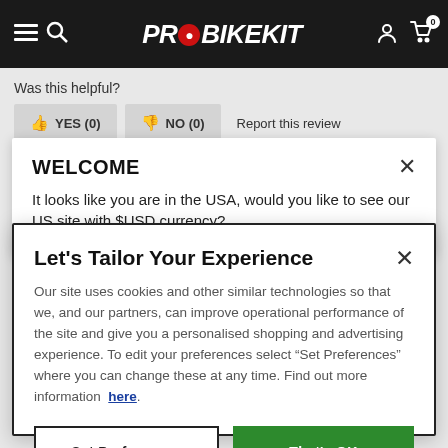[Figure (screenshot): ProBikeKit website navigation bar with hamburger menu, search icon, logo, user icon, and cart icon with 0 badge]
Was this helpful?
YES (0)   NO (0)   Report this review
WELCOME
It looks like you are in the USA, would you like to see our US site with $USD currency?
Let's Tailor Your Experience
Our site uses cookies and other similar technologies so that we, and our partners, can improve operational performance of the site and give you a personalised shopping and advertising experience. To edit your preferences select "Set Preferences" where you can change these at any time. Find out more information here.
Set Preferences   That's OK